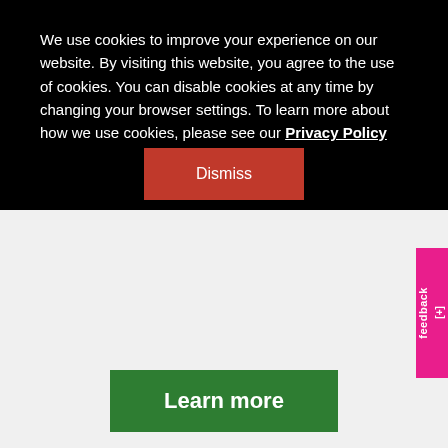We use cookies to improve your experience on our website. By visiting this website, you agree to the use of cookies. You can disable cookies at any time by changing your browser settings. To learn more about how we use cookies, please see our Privacy Policy
Dismiss
feedback [+]
Learn more